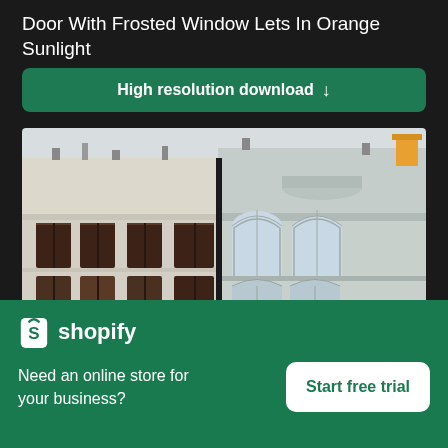Door With Frosted Window Lets In Orange Sunlight
High resolution download ↓
[Figure (photo): Photograph of two European-style multi-story residential or commercial buildings side by side. The left building has a cream/beige facade with dark brown rectangular windows arranged in rows. The right building has a light blue-grey facade with ornate classical architectural details including arched windows, decorative cornices, and sculptural embellishments. Both buildings have flat rooftops with chimneys or antenna structures visible at the top. The sky is overcast/pale behind them.]
×
[Figure (logo): Shopify logo: white shopping bag icon with an 'S' on it, followed by white text 'shopify']
Need an online store for your business?
Start free trial